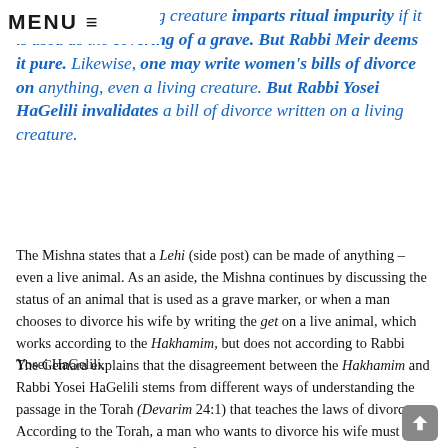MENU ≡
dispute. Even a living creature imparts ritual impurity if it is used as the covering of a grave. But Rabbi Meir deems it pure. Likewise, one may write women's bills of divorce on anything, even a living creature. But Rabbi Yosei HaGelili invalidates a bill of divorce written on a living creature.
The Mishna states that a Lehi (side post) can be made of anything – even a live animal. As an aside, the Mishna continues by discussing the status of an animal that is used as a grave marker, or when a man chooses to divorce his wife by writing the get on a live animal, which works according to the Hakhamim, but does not according to Rabbi Yosei HaGelili.
The Gemara explains that the disagreement between the Hakhamim and Rabbi Yosei HaGelili stems from different ways of understanding the passage in the Torah (Devarim 24:1) that teaches the laws of divorce. According to the Torah, a man who wants to divorce his wife must write a Sefer Keritut (a book of